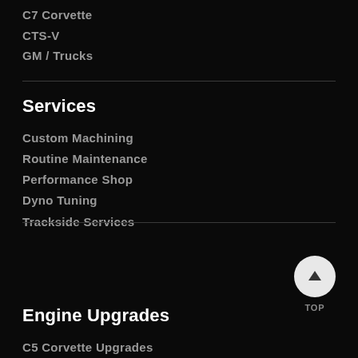C7 Corvette
CTS-V
GM / Trucks
Services
Custom Machining
Routine Maintenance
Performance Shop
Dyno Tuning
Trackside Services
[Figure (other): Back to top button: white circle with upward arrow]
TOP
Engine Upgrades
C5 Corvette Upgrades